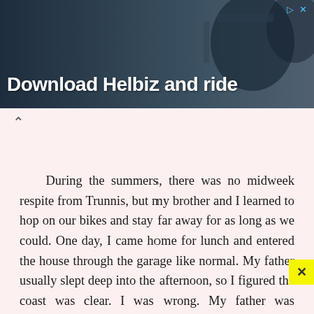[Figure (screenshot): Advertisement banner with dark background showing 'Download Helbiz and ride' text in white bold font with a close button (triangular play icon and X) in the top right corner in blue]
During the summers, there was no midweek respite from Trunnis, but my brother and I learned to hop on our bikes and stay far away for as long as we could. One day, I came home for lunch and entered the house through the garage like normal. My father usually slept deep into the afternoon, so I figured the coast was clear. I was wrong. My father was paranoid. He did enough shady deals to attract some enemie